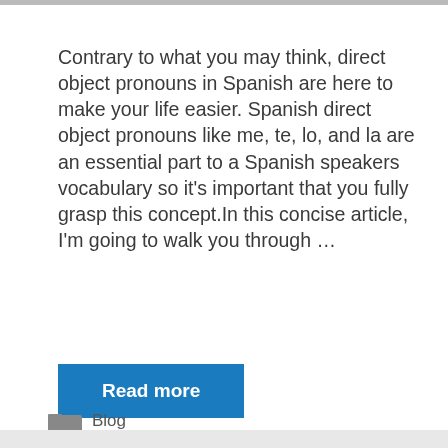[Figure (photo): Top edge of a photo visible as a thin gray bar at the very top of the page]
Contrary to what you may think, direct object pronouns in Spanish are here to make your life easier. Spanish direct object pronouns like me, te, lo, and la are an essential part to a Spanish speakers vocabulary so it's important that you fully grasp this concept.In this concise article, I'm going to walk you through ...
Read more
Blog